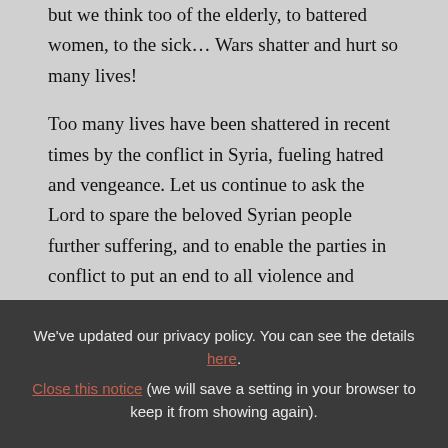who are the most vulnerable victims of wars, but we think too of the elderly, to battered women, to the sick... Wars shatter and hurt so many lives!
Too many lives have been shattered in recent times by the conflict in Syria, fueling hatred and vengeance. Let us continue to ask the Lord to spare the beloved Syrian people further suffering, and to enable the parties in conflict to put an end to all violence and
We've updated our privacy policy. You can see the details here. Close this notice (we will save a setting in your browser to keep it from showing again).